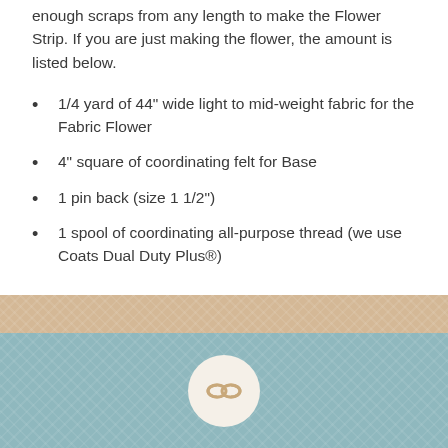If you are using the same fabric as your Table there are enough scraps from any length to make the Flower Strip. If you are just making the flower, the amount is listed below.
1/4 yard of 44" wide light to mid-weight fabric for the Fabric Flower
4" square of coordinating felt for Base
1 pin back (size 1 1/2")
1 spool of coordinating all-purpose thread (we use Coats Dual Duty Plus®)
[Figure (illustration): Decorative footer with tan/beige textured strip followed by teal/blue-grey textured section containing a circular icon with chain link symbol]
Company Links
Store Policy